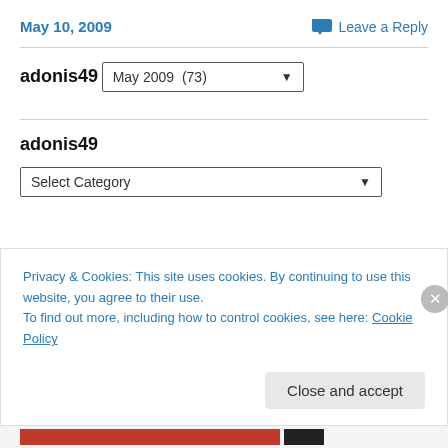May 10, 2009
Leave a Reply
adonis49
May 2009  (73)
adonis49
Select Category
Privacy & Cookies: This site uses cookies. By continuing to use this website, you agree to their use.
To find out more, including how to control cookies, see here: Cookie Policy
Close and accept